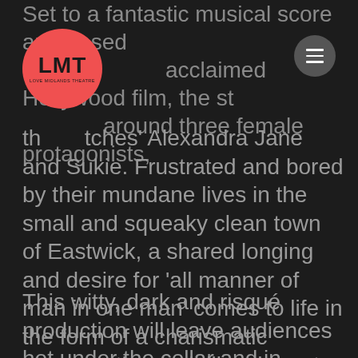LMT Love Midlands Theatre
Set to a fantastic musical score and based on acclaimed Hollywood film, the story around three female protagonists, the witches' Alexandra Jane and Sukie. Frustrated and bored by their mundane lives in the small and squeaky clean town of Eastwick, a shared longing and desire for 'all manner of man in one man' comes to life in the form of a charismatic stranger, the devil-like character, Darryl Van Horne.
This witty, dark and risqué production will leave audiences hot under the collar and in amazement as the three witches soar